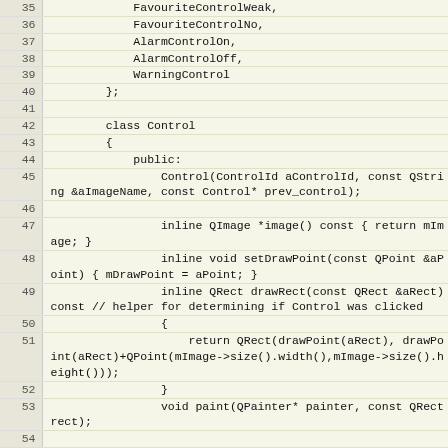Code listing lines 35–58 showing C++ class Control with enum values FavouriteControlWeak, FavouriteControlNo, AlarmControlOn, AlarmControlOff, WarningControl and class definition including constructor, inline methods, paint, enabled, setEnabled, private drawPoint.